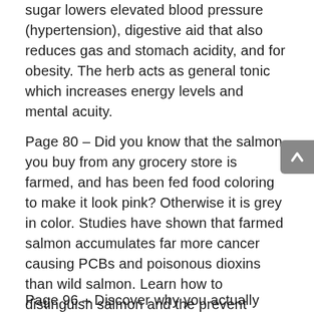sugar lowers elevated blood pressure (hypertension), digestive aid that also reduces gas and stomach acidity, and for obesity. The herb acts as general tonic which increases energy levels and mental acuity.
Page 80 – Did you know that the salmon you buy from any grocery store is farmed, and has been fed food coloring to make it look pink? Otherwise it is grey in color. Studies have shown that farmed salmon accumulates far more cancer causing PCBs and poisonous dioxins than wild salmon. Learn how to distinguish salmon and the prevent yourself from eating mercury, heavy metals, and other toxins.
Page 96 – Discover why you actually need saturated fats...